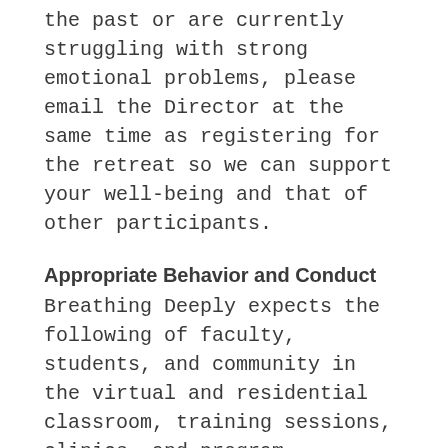the past or are currently struggling with strong emotional problems, please email the Director at the same time as registering for the retreat so we can support your well-being and that of other participants.
Appropriate Behavior and Conduct
Breathing Deeply expects the following of faculty, students, and community in the virtual and residential classroom, training sessions, clinics, and program settings:
Communicate, behave, and listen in a courteous, respectful, compassionate and honest manner.